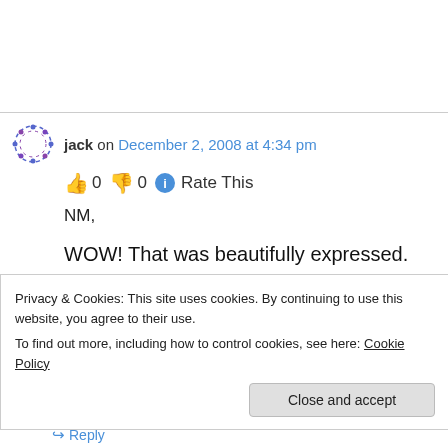jack on December 2, 2008 at 4:34 pm
👍 0 👎 0 ℹ Rate This
NM,
WOW! That was beautifully expressed. Thanks for sharing your perspective
Privacy & Cookies: This site uses cookies. By continuing to use this website, you agree to their use.
To find out more, including how to control cookies, see here: Cookie Policy
Close and accept
↪ Reply